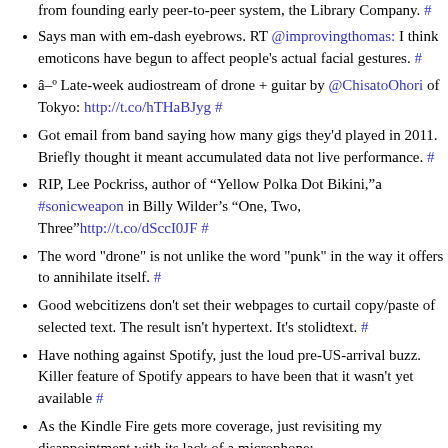from founding early peer-to-peer system, the Library Company. #
Says man with em-dash eyebrows. RT @improvingthomas: I think emoticons have begun to affect people's actual facial gestures. #
â–º Late-week audiostream of drone + guitar by @ChisatoOhori of Tokyo: http://t.co/hTHaBJyg #
Got email from band saying how many gigs they'd played in 2011. Briefly thought it meant accumulated data not live performance. #
RIP, Lee Pockriss, author of "Yellow Polka Dot Bikini,"a #sonicweapon in Billy Wilder's "One, Two, Three"http://t.co/dSccI0JF #
The word "drone" is not unlike the word "punk" in the way it offers to annihilate itself. #
Good webcitizens don't set their webpages to curtail copy/paste of selected text. The result isn't hypertext. It's stolidtext. #
Have nothing against Spotify, just the loud pre-US-arrival buzz. Killer feature of Spotify appears to have been that it wasn't yet available #
As the Kindle Fire gets more coverage, just revisiting my disappointment with its lack of a microphone: